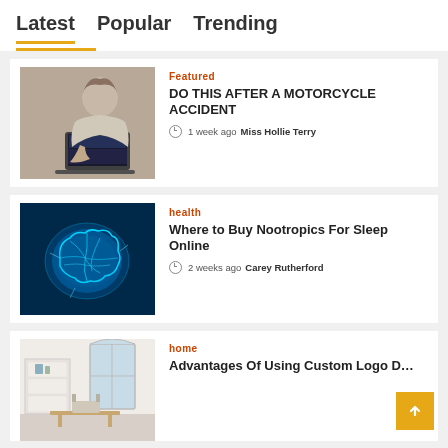Latest  Popular  Trending
[Figure (photo): Person using a laptop computer]
Featured
DO THIS AFTER A MOTORCYCLE ACCIDENT
1 week ago  Miss Hollie Terry
[Figure (photo): Glowing blue brain illustration]
health
Where to Buy Nootropics For Sleep Online
2 weeks ago  Carey Rutherford
[Figure (photo): Modern home interior with white furniture and large window]
home
Advantages Of Using Custom Logo D…